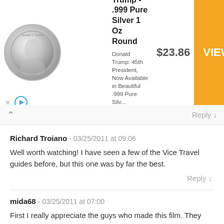[Figure (other): Advertisement banner: President Trump .999 Pure Silver 1 Oz Round coin. Shows silver coin image, product title, description 'Donald Trump: 45th President, Now Available in Beautiful .999 Pure Silv...', source 'Money Metals Exchange', price '$23.86', and orange 'VIEW >' button.]
Reply ↓
^
Richard Troiano - 03/25/2011 at 09:06

Well worth watching! I have seen a few of the Vice Travel guides before, but this one was by far the best.

Reply ↓
mida68 - 03/25/2011 at 07:00

First I really appreciate the guys who made this film. They took some big chances to get this information out. I don't think we should be non-judgmental as suggested by another comment below. The problem is the people in N. Korea have no choice in their lives - that is wrong. You can be neutral about many things but saying we should leave